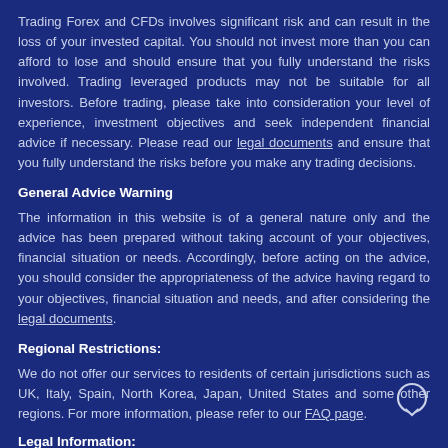Trading Forex and CFDs involves significant risk and can result in the loss of your invested capital. You should not invest more than you can afford to lose and should ensure that you fully understand the risks involved. Trading leveraged products may not be suitable for all investors. Before trading, please take into consideration your level of experience, investment objectives and seek independent financial advice if necessary. Please read our legal documents and ensure that you fully understand the risks before you make any trading decisions.
General Advice Warning
The information in this website is of a general nature only and the advice has been prepared without taking account of your objectives, financial situation or needs. Accordingly, before acting on the advice, you should consider the appropriateness of the advice having regard to your objectives, financial situation and needs, and after considering the legal documents.
Regional Restrictions:
We do not offer our services to residents of certain jurisdictions such as UK, Italy, Spain, North Korea, Japan, United States and some other regions. For more information, please refer to our FAQ page.
Legal Information:
□□□□ is a trademark of Vantage Group. Vantage Group of companies is